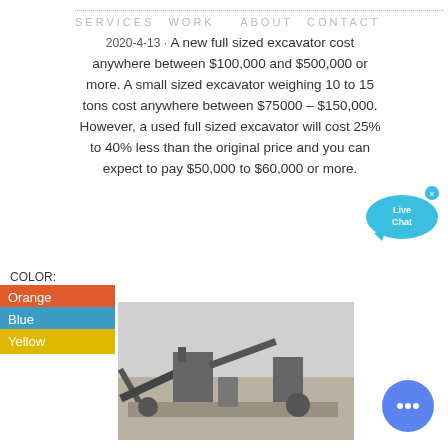SERVICES   WORK     ABOUT   CONTACT
2020-4-13 · A new full sized excavator cost anywhere between $100,000 and $500,000 or more. A small sized excavator weighing 10 to 15 tons cost anywhere between $75000 – $150,000. However, a used full sized excavator will cost 25% to 40% less than the original price and you can expect to pay $50,000 to $60,000 or more.
[Figure (illustration): Live Chat speech bubble icon with cyan color and small x close button]
COLOR:
Orange
Blue
Yellow
[Figure (photo): Photograph of industrial mining or quarry equipment including conveyor belts and machinery on open ground with grey sky background]
[Figure (illustration): Blue circular chat/messenger button with ellipsis icon]